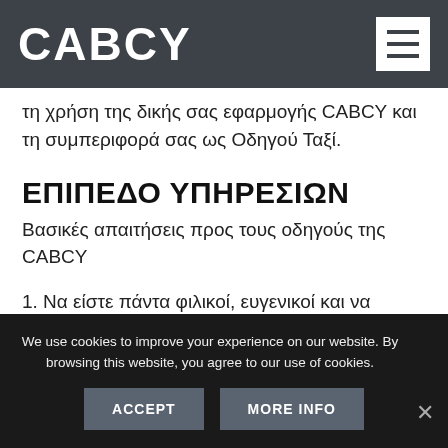CABCY
τη χρήση της δικής σας εφαρμογής CABCY και τη συμπεριφορά σας ως Οδηγού Ταξί.
ΕΠΙΠΕΔΟ ΥΠΗΡΕΣΙΩΝ
Βασικές απαιτήσεις προς τους οδηγούς της CABCY
1. Να είστε πάντα φιλικοί, ευγενικοί και να σέβεστε τους άλλους: από την έναρξη της επικοινωνίας με
We use cookies to improve your experience on our website. By browsing this website, you agree to our use of cookies.